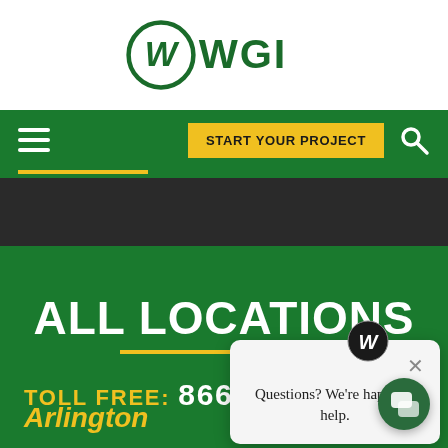[Figure (logo): WGI company logo with circular W icon and WGI text in dark green]
Navigation bar with hamburger menu, START YOUR PROJECT button, and search icon
ALL LOCATIONS
TOLL FREE: 866.XXX.XXXX
[Figure (screenshot): Chat popup overlay with WGI logo icon, close X button, and text: Questions? We're happy to help.]
Arlington
[Figure (other): Chat bubble support button in bottom right corner]